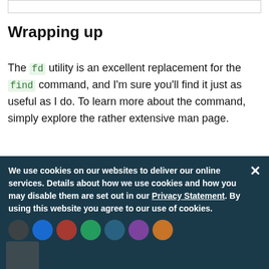Wrapping up
The fd utility is an excellent replacement for the find command, and I'm sure you'll find it just as useful as I do. To learn more about the command, simply explore the rather extensive man page.
Tags:  LINUX
We use cookies on our websites to deliver our online services. Details about how we use cookies and how you may disable them are set out in our Privacy Statement. By using this website you agree to our use of cookies.